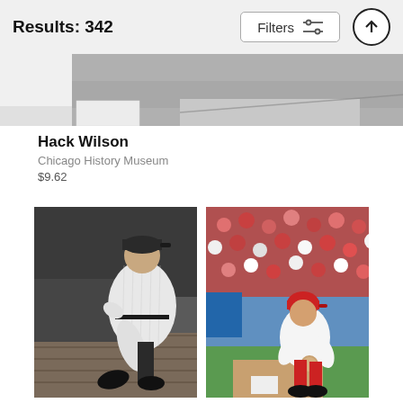Results: 342
[Figure (photo): Partial black and white photo of a baseball field/stadium (cropped top of Hack Wilson image)]
Hack Wilson
Chicago History Museum
$9.62
[Figure (photo): Black and white photo of a baseball player in New York Yankees pinstripe uniform posing in dugout area]
[Figure (photo): Color photo of a baseball player in St. Louis Cardinals white uniform fielding a ground ball at first base with crowd in background]